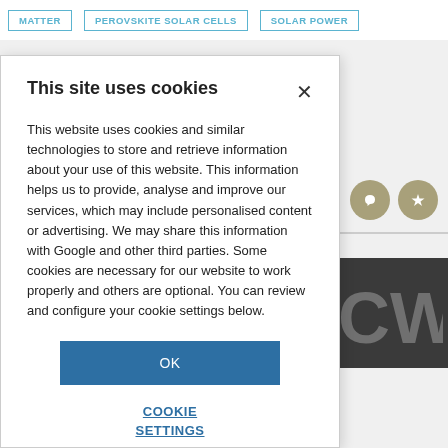MATTER | PEROVSKITE SOLAR CELLS | SOLAR POWER
This site uses cookies
This website uses cookies and similar technologies to store and retrieve information about your use of this website. This information helps us to provide, analyse and improve our services, which may include personalised content or advertising. We may share this information with Google and other third parties. Some cookies are necessary for our website to work properly and others are optional. You can review and configure your cookie settings below.
OK
COOKIE SETTINGS